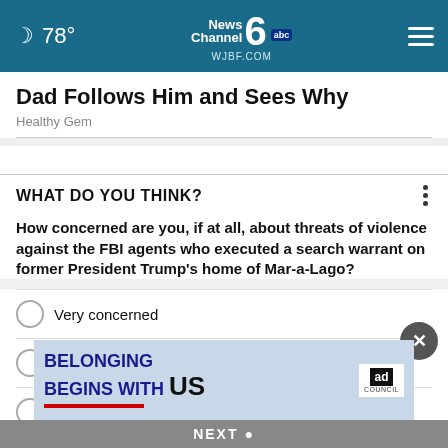78° NewsChannel 6 abc WJBF.COM
Dad Follows Him and Sees Why
Healthy Gem
WHAT DO YOU THINK?
How concerned are you, if at all, about threats of violence against the FBI agents who executed a search warrant on former President Trump's home of Mar-a-Lago?
Very concerned
Somewhat concerned
Not at all concerned
C
[Figure (screenshot): Ad banner: BELONGING BEGINS WITH US with Ad Council logo and NEXT button]